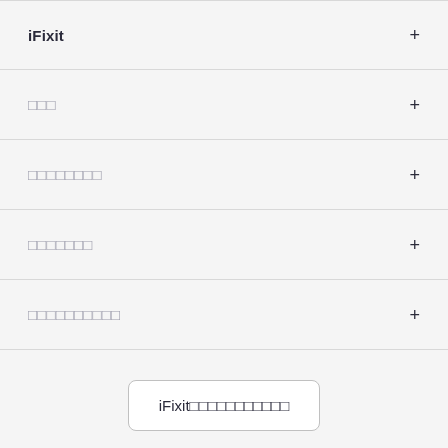iFixit
□□□
□□□□□□□□
□□□□□□□
□□□□□□□□□□
iFixit□□□□□□□□□□□